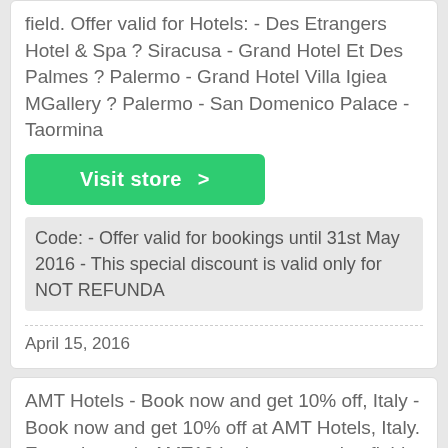field. Offer valid for Hotels: - Des Etrangers Hotel & Spa ? Siracusa - Grand Hotel Et Des Palmes ? Palermo - Grand Hotel Villa Igiea MGallery ? Palermo - San Domenico Palace - Taormina
Visit store >
Code: - Offer valid for bookings until 31st May 2016 - This special discount is valid only for NOT REFUNDA
April 15, 2016
AMT Hotels - Book now and get 10% off, Italy - Book now and get 10% off at AMT Hotels, Italy. Enter the code AMT10 in the reservation field. Offer valid for Hotels: - Des Etrangers